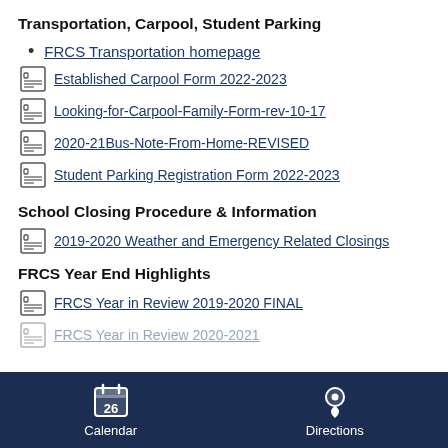Transportation, Carpool, Student Parking
FRCS Transportation homepage
Established Carpool Form 2022-2023
Looking-for-Carpool-Family-Form-rev-10-17
2020-21Bus-Note-From-Home-REVISED
Student Parking Registration Form 2022-2023
School Closing Procedure & Information
2019-2020 Weather and Emergency Related Closings
FRCS Year End Highlights
FRCS Year in Review 2019-2020 FINAL
FRCS Year in Review 2020-2021
Calendar   Directions